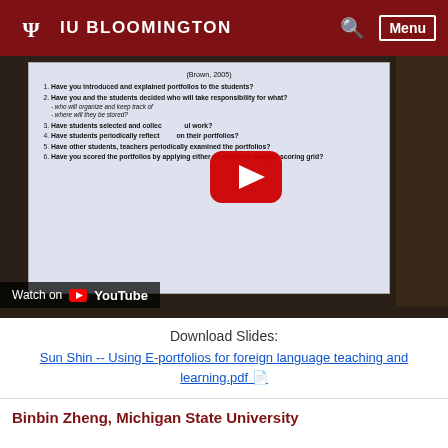IU BLOOMINGTON
[Figure (screenshot): YouTube video thumbnail showing a lecture slide about portfolio assessment questions (Brown, 2005), with a YouTube play button overlay and 'Watch on YouTube' bar at the bottom.]
Download Slides:
Sun Shin -- Using E-portfolios for foreign language teaching and learning.pdf
Binbin Zheng, Michigan State University